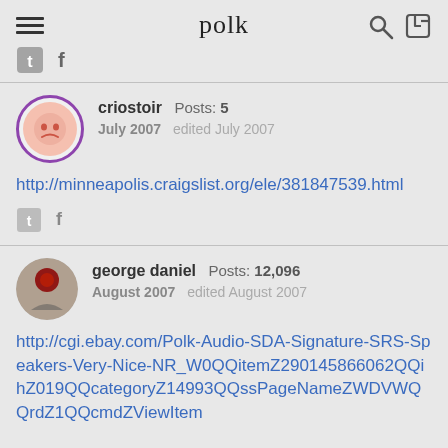polk
criostoir  Posts: 5
July 2007  edited July 2007
http://minneapolis.craigslist.org/ele/381847539.html
george daniel  Posts: 12,096
August 2007  edited August 2007
http://cgi.ebay.com/Polk-Audio-SDA-Signature-SRS-Speakers-Very-Nice-NR_W0QQitemZ290145866062QQihZ019QQcategoryZ14993QQssPageNameZWDVWQQrdZ1QQcmdZViewItem